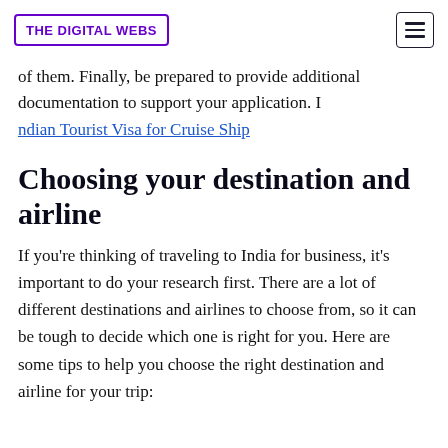THE DIGITAL WEBS
of them. Finally, be prepared to provide additional documentation to support your application. Indian Tourist Visa for Cruise Ship
Choosing your destination and airline
If you're thinking of traveling to India for business, it's important to do your research first. There are a lot of different destinations and airlines to choose from, so it can be tough to decide which one is right for you. Here are some tips to help you choose the right destination and airline for your trip: